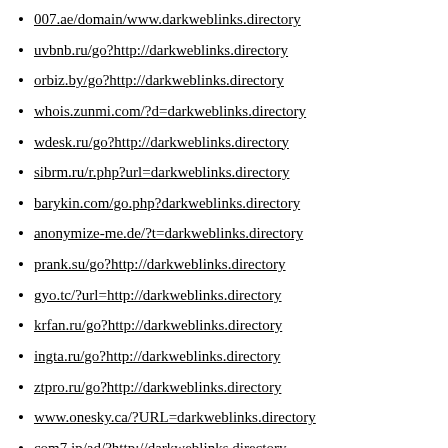007.ae/domain/www.darkweblinks.directory
uvbnb.ru/go?http://darkweblinks.directory
orbiz.by/go?http://darkweblinks.directory
whois.zunmi.com/?d=darkweblinks.directory
wdesk.ru/go?http://darkweblinks.directory
sibrm.ru/r.php?url=darkweblinks.directory
barykin.com/go.php?darkweblinks.directory
anonymize-me.de/?t=darkweblinks.directory
prank.su/go?http://darkweblinks.directory
gyo.tc/?url=http://darkweblinks.directory
krfan.ru/go?http://darkweblinks.directory
ingta.ru/go?http://darkweblinks.directory
ztpro.ru/go?http://darkweblinks.directory
www.onesky.ca/?URL=darkweblinks.directory
com7.jp/ad/?http://darkweblinks.directory
easyfiles.pl/54018/darkweblinks.directory
an0nym.xyz/?http://darkweblinks.directory
www.d0x.de/?http://darkweblinks.directory
ridgedale.net/?URL=darkweblinks.directory